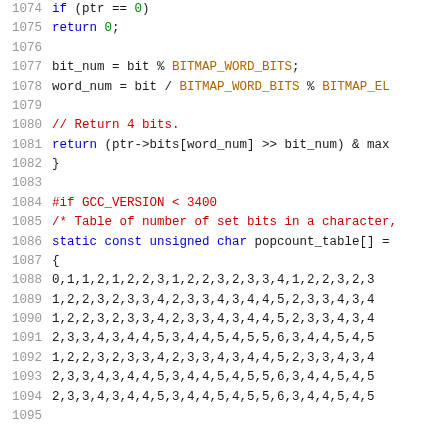Code listing lines 1074-1094 showing C source code with bitmap operations and popcount_table initialization
1074    if (ptr == 0)
1075        return 0;
1076
1077    bit_num = bit % BITMAP_WORD_BITS;
1078    word_num = bit / BITMAP_WORD_BITS % BITMAP_EL...
1079
1080    // Return 4 bits.
1081    return (ptr->bits[word_num] >> bit_num) & max
1082  }
1083
1084  #if GCC_VERSION < 3400
1085  /* Table of number of set bits in a character,
1086  static const unsigned char popcount_table[] =
1087  {
1088      0,1,1,2,1,2,2,3,1,2,2,3,2,3,3,4,1,2,2,3,2,3...
1089      1,2,2,3,2,3,3,4,2,3,3,4,3,4,4,5,2,3,3,4,3,4...
1090      1,2,2,3,2,3,3,4,2,3,3,4,3,4,4,5,2,3,3,4,3,4...
1091      2,3,3,4,3,4,4,5,3,4,4,5,4,5,5,6,3,4,4,5,4,5...
1092      1,2,2,3,2,3,3,4,2,3,3,4,3,4,4,5,2,3,3,4,3,4...
1093      2,3,3,4,3,4,4,5,3,4,4,5,4,5,5,6,3,4,4,5,4,5...
1094      2,3,3,4,3,4,4,5,3,4,4,5,4,5,5,6,3,4,4,5,4,5...